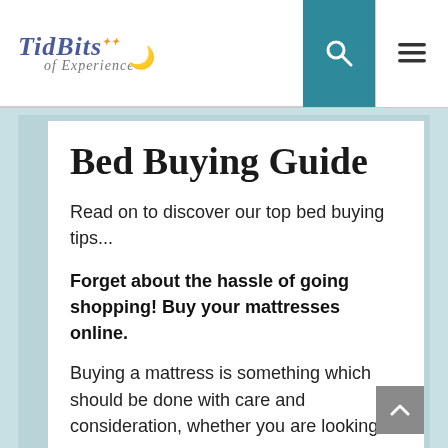TidBits of Experience
Bed Buying Guide
Read on to discover our top bed buying tips...
Forget about the hassle of going shopping! Buy your mattresses online.
Buying a mattress is something which should be done with care and consideration, whether you are looking